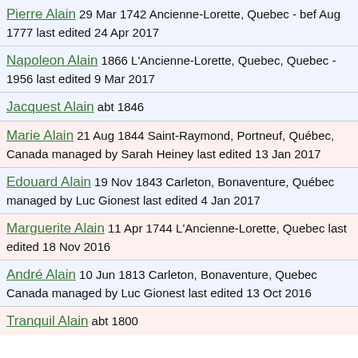Pierre Alain 29 Mar 1742 Ancienne-Lorette, Quebec - bef Aug 1777 last edited 24 Apr 2017
Napoleon Alain 1866 L'Ancienne-Lorette, Quebec, Quebec - 1956 last edited 9 Mar 2017
Jacquest Alain abt 1846
Marie Alain 21 Aug 1844 Saint-Raymond, Portneuf, Québec, Canada managed by Sarah Heiney last edited 13 Jan 2017
Edouard Alain 19 Nov 1843 Carleton, Bonaventure, Québec managed by Luc Gionest last edited 4 Jan 2017
Marguerite Alain 11 Apr 1744 L'Ancienne-Lorette, Quebec last edited 18 Nov 2016
André Alain 10 Jun 1813 Carleton, Bonaventure, Quebec Canada managed by Luc Gionest last edited 13 Oct 2016
Tranquil Alain abt 1800...